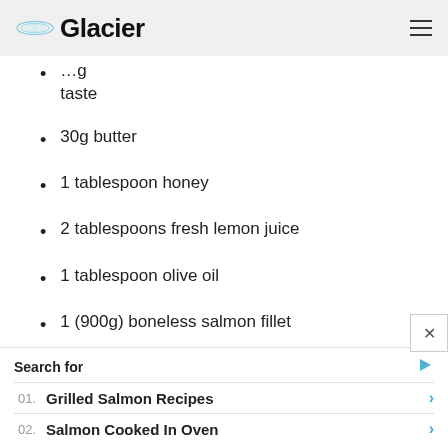Glacier
...g taste
30g butter
1 tablespoon honey
2 tablespoons fresh lemon juice
1 tablespoon olive oil
1 (900g) boneless salmon fillet
4 tablespoons chopped spring onions
Search for
01. Grilled Salmon Recipes
02. Salmon Cooked In Oven
Yahoo! Search | Sponsored